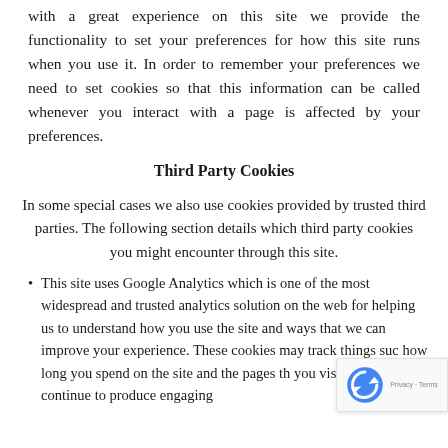with a great experience on this site we provide the functionality to set your preferences for how this site runs when you use it. In order to remember your preferences we need to set cookies so that this information can be called whenever you interact with a page is affected by your preferences.
Third Party Cookies
In some special cases we also use cookies provided by trusted third parties. The following section details which third party cookies you might encounter through this site.
This site uses Google Analytics which is one of the most widespread and trusted analytics solution on the web for helping us to understand how you use the site and ways that we can improve your experience. These cookies may track things such how long you spend on the site and the pages that you visit so as we continue to produce engaging